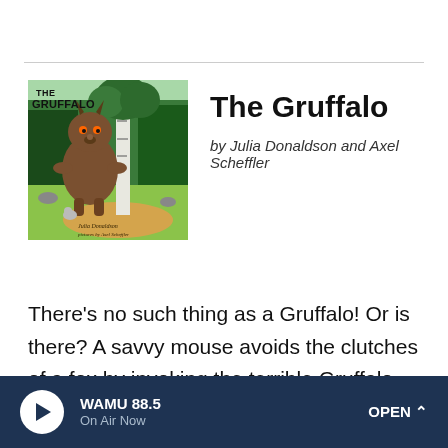[Figure (illustration): Book cover of 'The Gruffalo' showing a large brown monster (the Gruffalo) standing next to a white birch tree in a forest clearing, with a small mouse in the foreground. Text on cover reads 'The Gruffalo' and 'Julia Donaldson pictures by Axel Scheffler'.]
The Gruffalo
by Julia Donaldson and Axel Scheffler
There's no such thing as a Gruffalo! Or is there? A savvy mouse avoids the clutches of a fox by invoking the terrible Gruffalo — setting off an increasingly ridiculous (and delightful) chain of events, all told in rhyming couplets that
WAMU 88.5 On Air Now OPEN ^